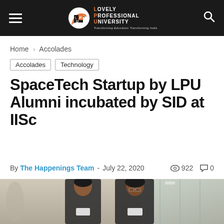Lovely Professional University — Transforming Education Transforming India
Home > Accolades
Accolades   Technology
SpaceTech Startup by LPU Alumni incubated by SID at IISc
By The Happenings Team - July 22, 2020  922  0
[Figure (photo): Two young men in formal dark suits standing together, likely LPU alumni founders of the SpaceTech startup, photographed in front of a glass building.]